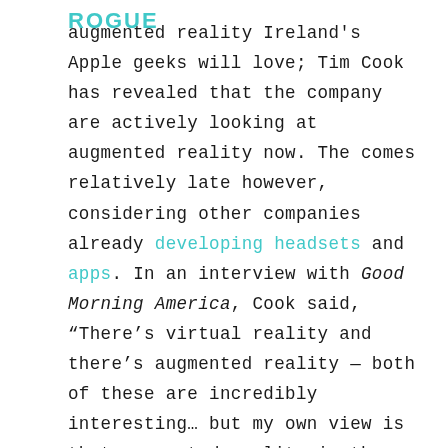[Figure (logo): Rogue logo in teal/cyan color, bold blocky letters]
augmented reality Ireland's Apple geeks will love; Tim Cook has revealed that the company are actively looking at augmented reality now. The comes relatively late however, considering other companies already developing headsets and apps. In an interview with Good Morning America, Cook said, “There’s virtual reality and there’s augmented reality — both of these are incredibly interesting… but my own view is that augmented reality is the larger of the two.